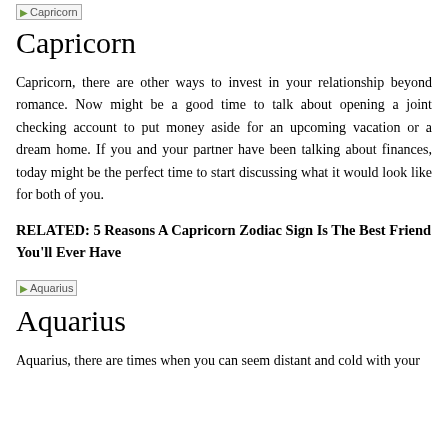[Figure (illustration): Capricorn zodiac sign image placeholder]
Capricorn
Capricorn, there are other ways to invest in your relationship beyond romance. Now might be a good time to talk about opening a joint checking account to put money aside for an upcoming vacation or a dream home. If you and your partner have been talking about finances, today might be the perfect time to start discussing what it would look like for both of you.
RELATED: 5 Reasons A Capricorn Zodiac Sign Is The Best Friend You'll Ever Have
[Figure (illustration): Aquarius zodiac sign image placeholder]
Aquarius
Aquarius, there are times when you can seem distant and cold with your